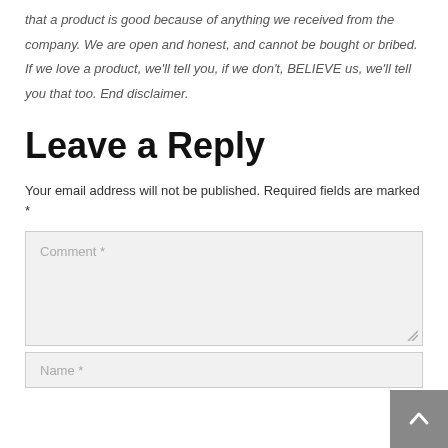that a product is good because of anything we received from the company. We are open and honest, and cannot be bought or bribed. If we love a product, we'll tell you, if we don't, BELIEVE us, we'll tell you that too. End disclaimer.
Leave a Reply
Your email address will not be published. Required fields are marked *
Comment *
Name *